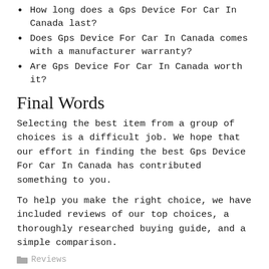How long does a Gps Device For Car In Canada last?
Does Gps Device For Car In Canada comes with a manufacturer warranty?
Are Gps Device For Car In Canada worth it?
Final Words
Selecting the best item from a group of choices is a difficult job. We hope that our effort in finding the best Gps Device For Car In Canada has contributed something to you.
To help you make the right choice, we have included reviews of our top choices, a thoroughly researched buying guide, and a simple comparison.
Reviews